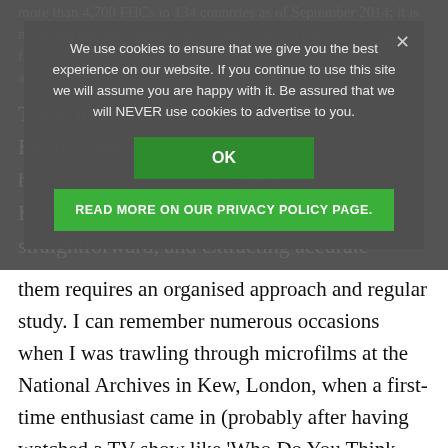more than 4,700 FHCs in 134 countries as of September 2014; it is my guess that this number has probably grown since then. You can find instructions for locating your local FHC, by following the above link.
We use cookies to ensure that we give you the best experience on our website. If you continue to use this site we will assume you are happy with it. Be assured that we will NEVER use cookies to advertise to you.
OK
READ MORE ON OUR PRIVACY POLICY PAGE.
These microfilms are what the majority of English-speaking family historians with research. However, they are unlikely straightforward, and extracting accurate information from them requires an organised approach and regular study. I can remember numerous occasions when I was trawling through microfilms at the National Archives in Kew, London, when a first-time enthusiast came in (probably after having watched a TV show like 'Who Do You Think You Are?') and turned on a microfilm reader, fully expecting they would be able to trace their family back 200 years in a single sitting. Nine times out of ten, the person gives up after an hour.
Microfilms themselves are extremely unwieldy tools, and the